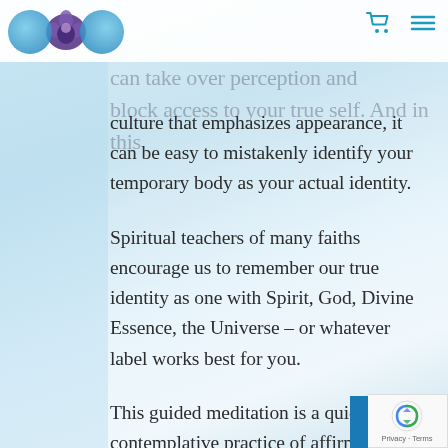[Figure (logo): Website logo with two blue circles and a lotus/meditation emblem in the center]
...can take over perception and block access to your true self. And in this culture that emphasizes appearance, it can be easy to mistakenly identify your temporary body as your actual identity.
Spiritual teachers of many faiths encourage us to remember our true identity as one with Spirit, God, Divine Essence, the Universe – or whatever label works best for you.
This guided meditation is a quiet contemplative practice of affirming that